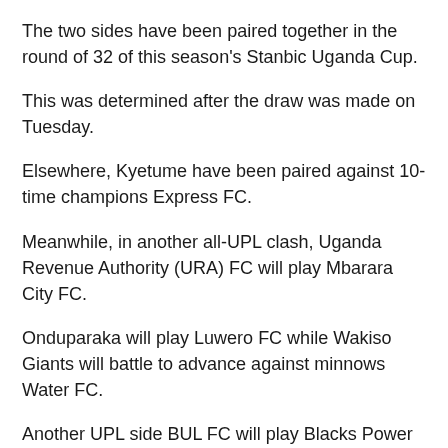The two sides have been paired together in the round of 32 of this season's Stanbic Uganda Cup.
This was determined after the draw was made on Tuesday.
Elsewhere, Kyetume have been paired against 10-time champions Express FC.
Meanwhile, in another all-UPL clash, Uganda Revenue Authority (URA) FC will play Mbarara City FC.
Onduparaka will play Luwero FC while Wakiso Giants will battle to advance against minnows Water FC.
Another UPL side BUL FC will play Blacks Power as KCCA FC tackle Nyamityobora.
Malaba Youth Development Association (Myda) FC play Proline FC as Police FC make a trip to Calvary FC.
The competition will be played on a home and away basis with